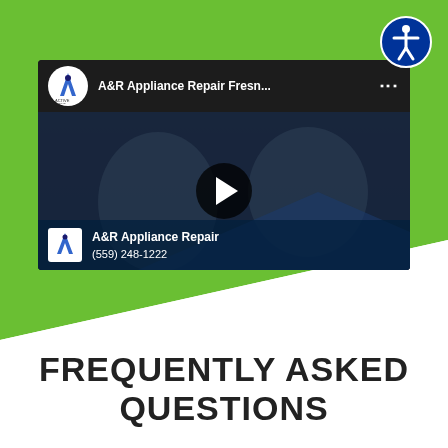[Figure (screenshot): YouTube video thumbnail for 'A&R Appliance Repair Fresn...' showing technicians working, with a play button overlay and the business name and phone number (559) 248-1222 displayed at the bottom of the video.]
FREQUENTLY ASKED QUESTIONS